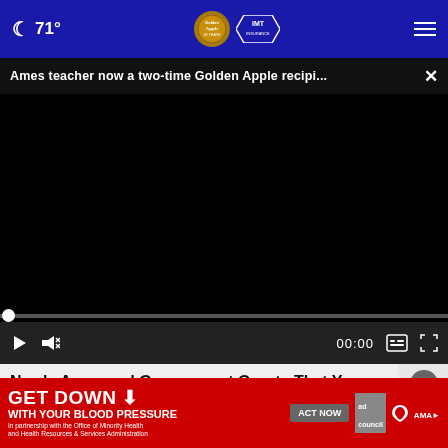🌙 71° | Golden Apple IMT Insurance | ☰
Ames teacher now a two-time Golden Apple recipi... ×
[Figure (screenshot): Black video player area with playback controls showing 00:00 timestamp, play button, mute button, captions and fullscreen icons, and a progress bar with a white dot at position 0.]
Newly Approved Government Grants That You Don't Have to Pay Back
[Figure (screenshot): Red advertisement banner reading GET DOWN WITH YOUR BLOOD PRESSURE with ACT NOW button, ad council logo, heart association logo, and AMA logo. Includes text: In partnership with the Office of Minority Health and Health Resources & Services Administration.]